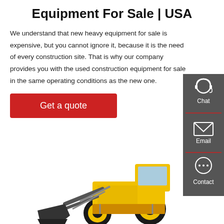Equipment For Sale | USA
We understand that new heavy equipment for sale is expensive, but you cannot ignore it, because it is the need of every construction site. That is why our company provides you with the used construction equipment for sale in the same operating conditions as the new one.
Get a quote
[Figure (illustration): Sidebar panel with three icons: Chat (headset icon), Email (envelope icon), Contact (speech bubble icon), on dark grey background with red dividers]
[Figure (photo): Yellow front-loader / wheel loader construction machine on white background]